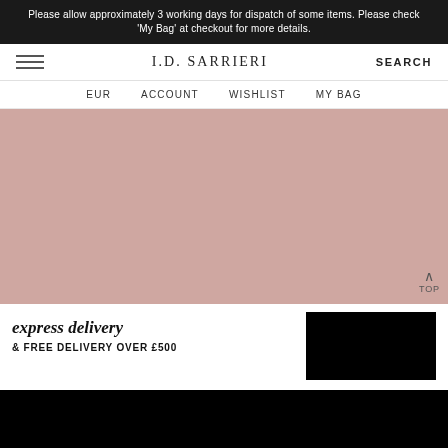Please allow approximately 3 working days for dispatch of some items. Please check 'My Bag' at checkout for more details.
I.D. SARRIERI
EUR   ACCOUNT   WISHLIST   MY BAG
[Figure (photo): Pink-background fashion photo showing dark navy clothing items hanging on the right side]
express delivery
& FREE DELIVERY OVER £500
We use cookies to ensure that we give you the best experience on our website. If you continue we'll assume that you have read and understand this. Learn more